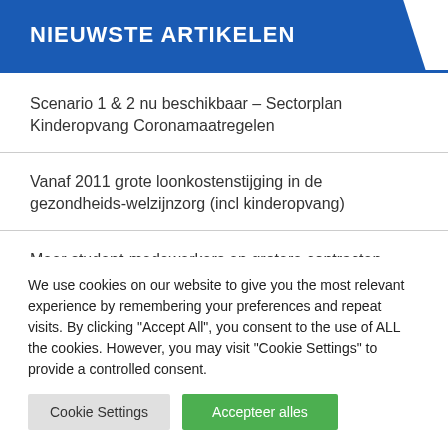NIEUWSTE ARTIKELEN
Scenario 1 & 2 nu beschikbaar – Sectorplan Kinderopvang Coronamaatregelen
Vanaf 2011 grote loonkostenstijging in de gezondheids-welzijnzorg (incl kinderopvang)
Meer student-medewerkers en grotere contracten in kinderopvang
We use cookies on our website to give you the most relevant experience by remembering your preferences and repeat visits. By clicking "Accept All", you consent to the use of ALL the cookies. However, you may visit "Cookie Settings" to provide a controlled consent.